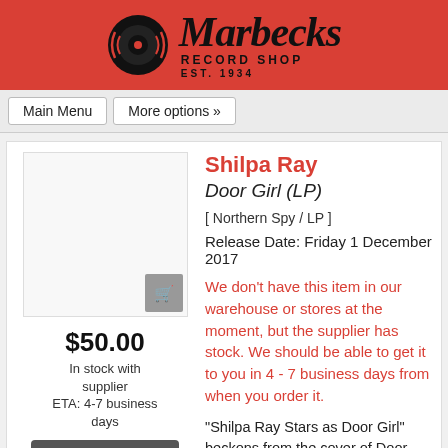[Figure (logo): Marbecks Record Shop logo with vinyl record icon and script text on red background]
Main Menu   More options »
[Figure (photo): Album cover image placeholder (blank white)]
$50.00
In stock with supplier
ETA: 4-7 business days
add to cart
more by this artist
Shilpa Ray
Door Girl (LP)
[ Northern Spy / LP ]
Release Date: Friday 1 December 2017
We don't have this item in our warehouse or stores at the moment, but the supplier has stock. We should be able to get it to you in 4 - 7 business days from when you order it.
"Shilpa Ray Stars as Door Girl" beckons from the cover of Door Girl in pink neon - reminiscent of nothing less than the pink lipstick that spells out New York Dolls on the cover of their similarly explosive record. Her song